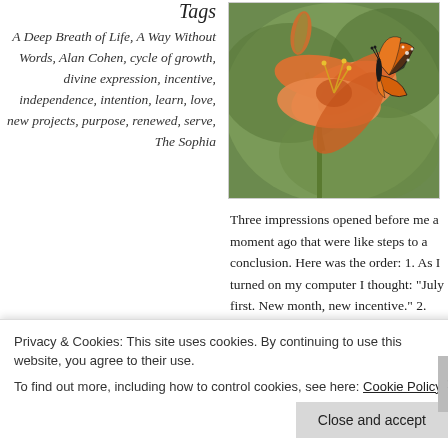Tags
A Deep Breath of Life, A Way Without Words, Alan Cohen, cycle of growth, divine expression, incentive, independence, intention, learn, love, new projects, purpose, renewed, serve, The Sophia
[Figure (photo): A monarch butterfly resting on an orange lily flower with green background]
Three impressions opened before me a moment ago that were like steps to a conclusion. Here was the order: 1. As I turned on my computer I thought: “July first. New month, new incentive.” 2. My eye fell on the title of a book that someone had recently given me for our library. It’s called A Way Without Words and is
Privacy & Cookies: This site uses cookies. By continuing to use this website, you agree to their use.
To find out more, including how to control cookies, see here: Cookie Policy
Close and accept